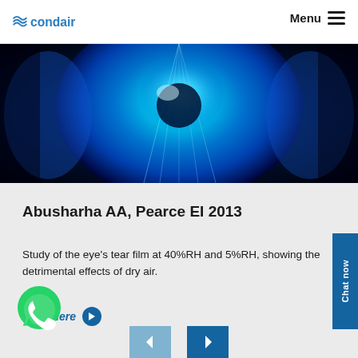condair | Menu
[Figure (photo): Close-up glowing blue eye illustration with bright cyan and electric blue tones against dark background]
Abusharha AA, Pearce EI 2013
Study of the eye's tear film at 40%RH and 5%RH, showing the detrimental effects of dry air.
Click here